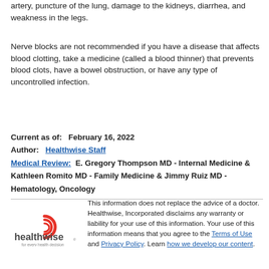artery, puncture of the lung, damage to the kidneys, diarrhea, and weakness in the legs.
Nerve blocks are not recommended if you have a disease that affects blood clotting, take a medicine (called a blood thinner) that prevents blood clots, have a bowel obstruction, or have any type of uncontrolled infection.
Current as of:   February 16, 2022
Author:   Healthwise Staff
Medical Review:  E. Gregory Thompson MD - Internal Medicine & Kathleen Romito MD - Family Medicine & Jimmy Ruiz MD - Hematology, Oncology
[Figure (logo): Healthwise logo with tagline 'for every health decision']
This information does not replace the advice of a doctor. Healthwise, Incorporated disclaims any warranty or liability for your use of this information. Your use of this information means that you agree to the Terms of Use and Privacy Policy. Learn how we develop our content.

To learn more about Healthwise, visit Healthwise.org.

© 1995-2022 Healthwise, Incorporated. Healthwise, Healthwise for every health decision, and the Healthwise logo are trademarks of Healthwise, Incorporated.